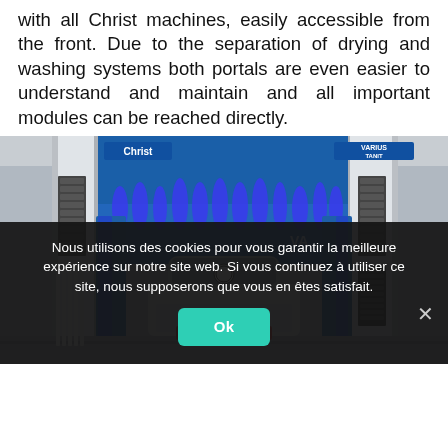with all Christ machines, easily accessible from the front. Due to the separation of drying and washing systems both portals are even easier to understand and maintain and all important modules can be reached directly.
[Figure (photo): A BMW sedan entering a Christ VARIUS TANIT car wash machine with blue rotating brushes and visible mechanical components on both sides.]
Nous utilisons des cookies pour vous garantir la meilleure expérience sur notre site web. Si vous continuez à utiliser ce site, nous supposerons que vous en êtes satisfait.
Ok